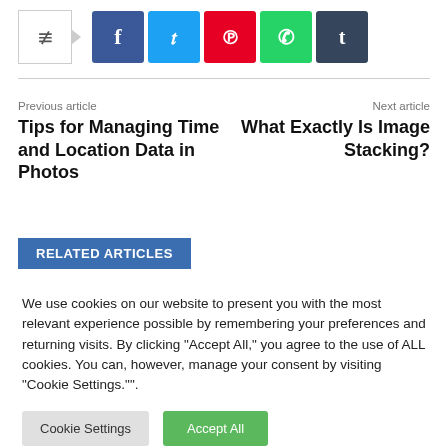[Figure (infographic): Social share buttons: share icon, Facebook, Twitter, Pinterest, WhatsApp, Tumblr]
Previous article
Tips for Managing Time and Location Data in Photos
Next article
What Exactly Is Image Stacking?
RELATED ARTICLES
We use cookies on our website to present you with the most relevant experience possible by remembering your preferences and returning visits. By clicking "Accept All," you agree to the use of ALL cookies. You can, however, manage your consent by visiting "Cookie Settings."".
Cookie Settings   Accept All